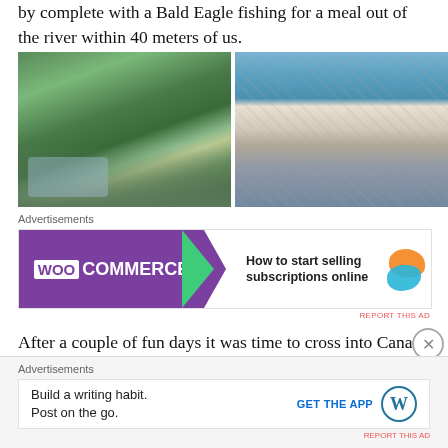by complete with a Bald Eagle fishing for a meal out of the river within 40 meters of us.
[Figure (photo): Two side-by-side outdoor photos: left shows a river road scene with pine trees; right shows people rafting/floating on a river.]
Advertisements
[Figure (other): WooCommerce advertisement banner: 'How to start selling subscriptions online']
REPORT THIS AD
After a couple of fun days it was time to cross into Canada for a month or so of camping and riding. We ended up on
Advertisements
[Figure (other): WordPress app advertisement: 'Build a writing habit. Post on the go.' with GET THE APP button and WordPress logo]